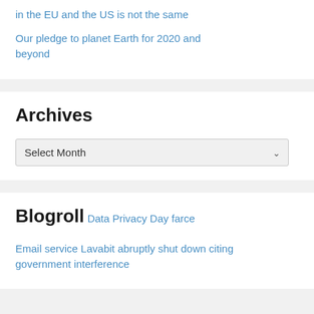in the EU and the US is not the same
Our pledge to planet Earth for 2020 and beyond
Archives
Select Month
Blogroll
Data Privacy Day farce
Email service Lavabit abruptly shut down citing government interference